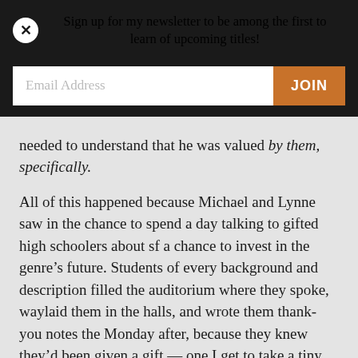Sign up for my newsletter to be among the first to learn of upcoming titles!
Email Address
JOIN
needed to understand that he was valued by them, specifically.
All of this happened because Michael and Lynne saw in the chance to spend a day talking to gifted high schoolers about sf a chance to invest in the genre’s future. Students of every background and description filled the auditorium where they spoke, waylaid them in the halls, and wrote them thank-you notes the Monday after, because they knew they’d been given a gift — one I get to take a tiny bit of credit for because so many in sf have been so generous to me.